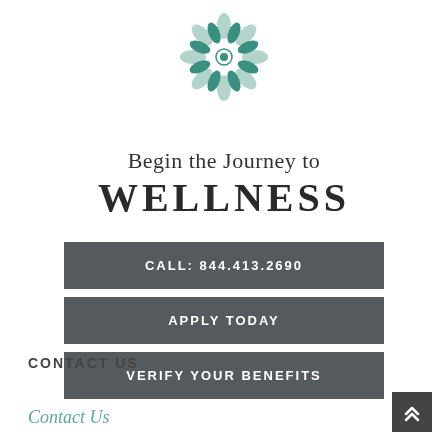[Figure (logo): Teal lotus/flower mandala logo icon]
Begin the Journey to WELLNESS
CALL: 844.413.2690
APPLY TODAY
VERIFY YOUR BENEFITS
CONTACT US
Contact Us